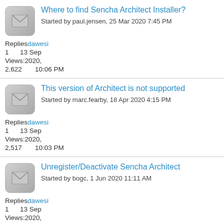Where to find Sencha Architect Installer? Started by paul.jensen, 25 Mar 2020 7:45 PM | Replies: 1 | Views: 2,622 | dawesi 13 Sep 2020, 10:06 PM
This version of Architect is not supported Started by marc.fearby, 18 Apr 2020 4:15 PM | Replies: 1 | Views: 2,517 | dawesi 13 Sep 2020, 10:03 PM
Unregister/Deactivate Sencha Architect Started by bogc, 1 Jun 2020 11:11 AM | Replies: 1 | Views: 6,847 | dawesi 13 Sep 2020, 10:01 PM
Architect 4.2.4 - Modern error -